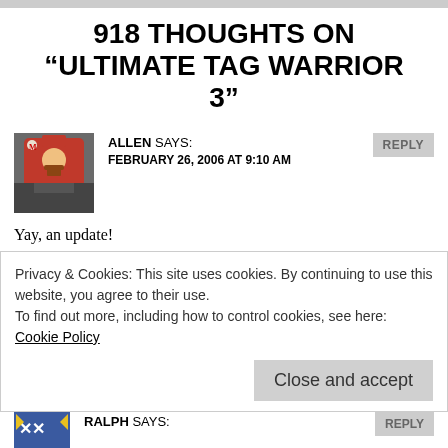918 THOUGHTS ON “ULTIMATE TAG WARRIOR 3”
ALLEN SAYS:
FEBRUARY 26, 2006 AT 9:10 AM
Yay, an update!
What’s the difference between vanilla and single file?
CHRISTINE DAVIS SAYS:
FEBRUARY 26, 2006 AT 10:38 AM
Privacy & Cookies: This site uses cookies. By continuing to use this website, you agree to their use.
To find out more, including how to control cookies, see here: Cookie Policy
Close and accept
RALPH SAYS: